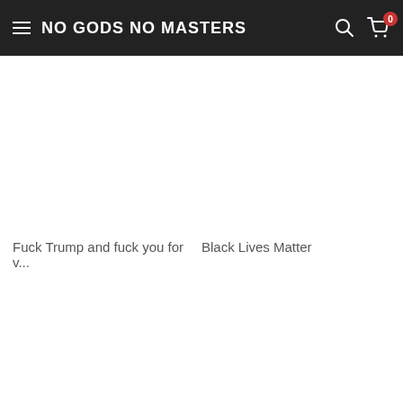NO GODS NO MASTERS
Fuck Trump and fuck you for v...
Black Lives Matter